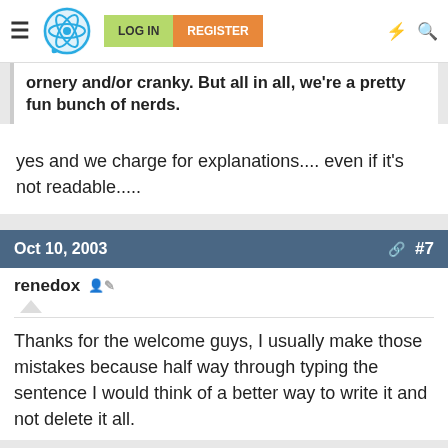LOG IN  REGISTER
ornery and/or cranky. But all in all, we're a pretty fun bunch of nerds.
yes and we charge for explanations.... even if it's not readable.....
Oct 10, 2003  #7
renedox
Thanks for the welcome guys, I usually make those mistakes because half way through typing the sentence I would think of a better way to write it and not delete it all.